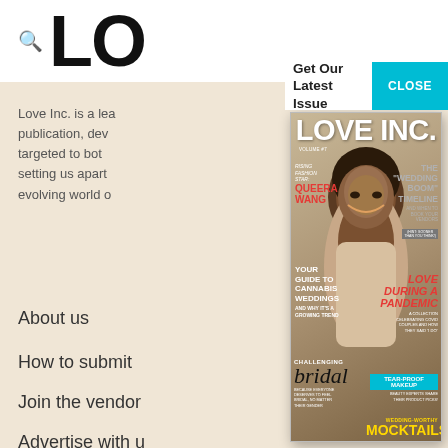LO...
Love Inc. is a leading publication, devoted and targeted to both... setting us apart... evolving world of...
About us
How to submit
Join the vendor
Advertise with us
Get Our Latest Issue
[Figure (screenshot): Cover of Love Inc. magazine featuring a smiling Black man with an afro, with cover lines including: RISING FASHION STAR QUEERA WANG, YOUR GUIDE TO CANNABIS WEDDINGS AND WHY IT'S A GROWING TREND, THE "WEDDING BOOM" TIMELINE AND WHEN TO BOOK YOUR VENDORS (HINT: SOONER THAN YOU THINK!), LOVE DURING A PANDEMIC A COLLECTION CELEBRATING COVID COUPLES AND HOW THEY SAID "I DO", TEAR-PROOF MAKEUP BEAUTY EXPERTS SHARE THEIR PRODUCT PICKS!, CHALLENGING bridal BECAUSE EVERYONE DESERVES TO FEEL BRIDAL NO MATTER THEIR GENDER, WEDDING-WORTHY MOCKTAILS]